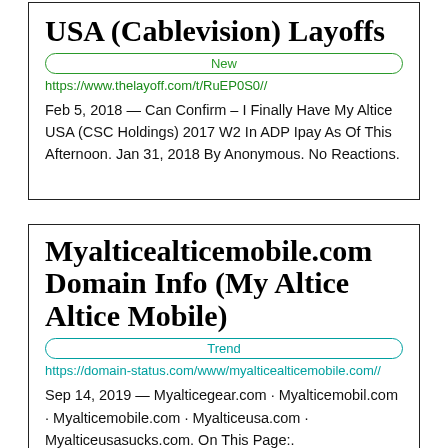USA (Cablevision) Layoffs
New
https://www.thelayoff.com/t/RuEP0S0//
Feb 5, 2018 — Can Confirm – I Finally Have My Altice USA (CSC Holdings) 2017 W2 In ADP Ipay As Of This Afternoon. Jan 31, 2018 By Anonymous. No Reactions.
Myalticealticemobile.com Domain Info (My Altice Altice Mobile)
Trend
https://domain-status.com/www/myalticealticemobile.com//
Sep 14, 2019 — Myalticegear.com · Myalticemobil.com · Myalticemobile.com · Myalticeusa.com · Myalticeusasucks.com. On This Page:.